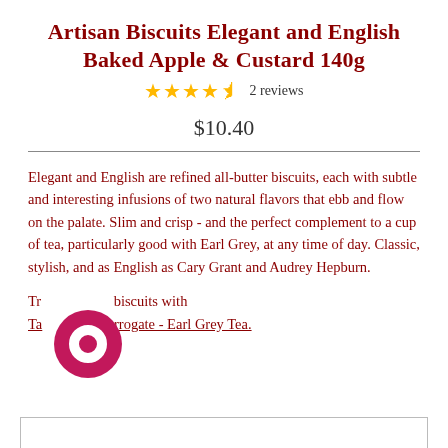Artisan Biscuits Elegant and English Baked Apple & Custard 140g
★★★★½ 2 reviews
$10.40
Elegant and English are refined all-butter biscuits, each with subtle and interesting infusions of two natural flavors that ebb and flow on the palate. Slim and crisp - and the perfect complement to a cup of tea, particularly good with Earl Grey, at any time of day. Classic, stylish, and as English as Cary Grant and Audrey Hepburn.
Try these biscuits with Taylors of Harrogate - Earl Grey Tea.
[Figure (logo): Circular magenta/pink icon overlapping the text area]